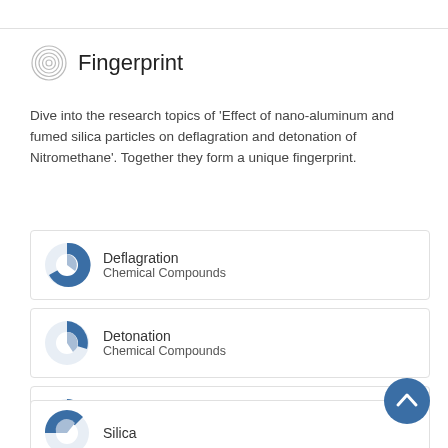Fingerprint
Dive into the research topics of 'Effect of nano-aluminum and fumed silica particles on deflagration and detonation of Nitromethane'. Together they form a unique fingerprint.
Deflagration
Chemical Compounds
Detonation
Chemical Compounds
Nitromethane
Chemical Compounds
Silica